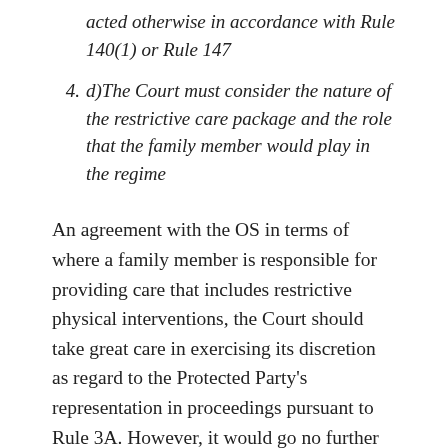acted otherwise in accordance with Rule 140(1) or Rule 147
4. d)The Court must consider the nature of the restrictive care package and the role that the family member would play in the regime
An agreement with the OS in terms of where a family member is responsible for providing care that includes restrictive physical interventions, the Court should take great care in exercising its discretion as regard to the Protected Party's representation in proceedings pursuant to Rule 3A. However, it would go no further than that and if a family member who was so involved put